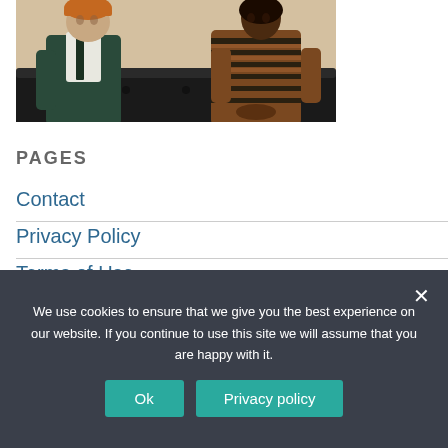[Figure (photo): Two people sitting on a dark leather couch against a beige/tan wall. On the left is a man wearing an orange/rust beanie hat and a dark puffer vest over a white shirt, looking toward the right. On the right is a woman wearing a brown and black striped long-sleeve sweater, looking back at the man.]
PAGES
Contact
Privacy Policy
Terms of Use
We use cookies to ensure that we give you the best experience on our website. If you continue to use this site we will assume that you are happy with it.